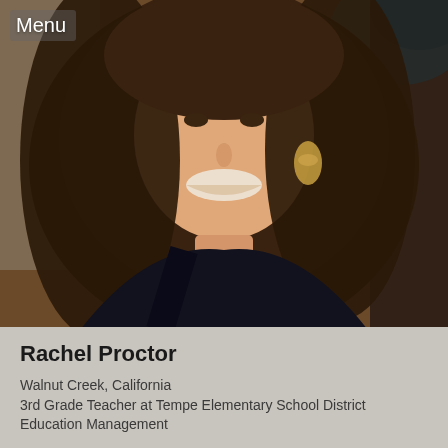Menu
[Figure (photo): Profile photo of Rachel Proctor, a woman with long wavy brown hair, smiling, wearing gold hoop earrings and a dark top, outdoors with stone wall and teal foliage in background]
Rachel Proctor
Walnut Creek, California
3rd Grade Teacher at Tempe Elementary School District
Education Management